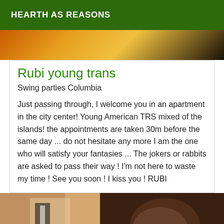HEARTH AS REASONS
[Figure (photo): Colorful fabric or rug with orange, yellow and dark tones — top portion of a listing card image]
Rubi young trans
Swing parties Columbia
Just passing through, I welcome you in an apartment in the city center! Young American TRS mixed of the islands! the appointments are taken 30m before the same day ... do not hesitate any more I am the one who will satisfy your fantasies ... The jokers or rabbits are asked to pass their way ! I'm not here to waste my time ! See you soon ! I kiss you ! RUBI
[Figure (photo): Photo of a person lying down, partially blurred, indoors with wooden furniture visible]